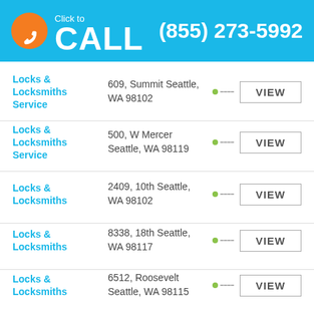[Figure (infographic): Click to CALL header banner with phone icon and number (855) 273-5992 on blue background]
Locks & Locksmiths Service | 609, Summit Seattle, WA 98102 | VIEW
Locks & Locksmiths Service | 500, W Mercer Seattle, WA 98119 | VIEW
Locks & Locksmiths | 2409, 10th Seattle, WA 98102 | VIEW
Locks & Locksmiths | 8338, 18th Seattle, WA 98117 | VIEW
Locks & Locksmiths | 6512, Roosevelt Seattle, WA 98115 | VIEW
Locks & Locksmiths | 4555, University Seattle, WA 98105 | VIEW